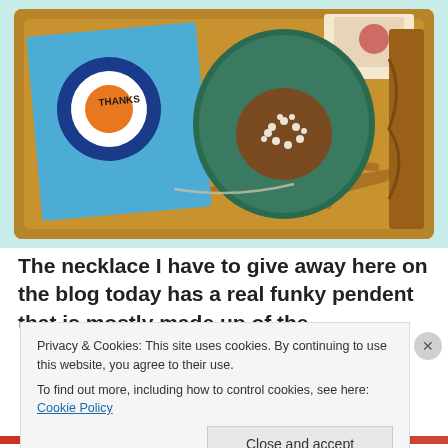[Figure (photo): A wooden gift box filled with shredded brown paper, containing a blue greeting card with a circular mod-style logo (blue ring, orange center with text), a teal/green decorative disc with small white beads in a brown center, and other items including what appears to be jewelry and sticker cards.]
The necklace I have to give away here on the blog today has a real funky pendent that is mostly made up of the
Privacy & Cookies: This site uses cookies. By continuing to use this website, you agree to their use.
To find out more, including how to control cookies, see here: Cookie Policy
Close and accept